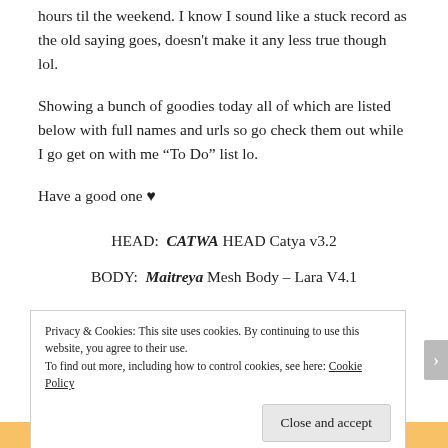hours til the weekend.  I know I sound like a stuck record as the old saying goes, doesn't make it any less true though lol.
Showing a bunch of goodies today all of which are listed below with full names and urls so go check them out while I go get on with me “To Do” list lo.
Have a good one ♥
HEAD:  CATWA HEAD Catya v3.2
BODY:  Maitreya Mesh Body – Lara V4.1
Privacy & Cookies: This site uses cookies. By continuing to use this website, you agree to their use.
To find out more, including how to control cookies, see here: Cookie Policy
Close and accept